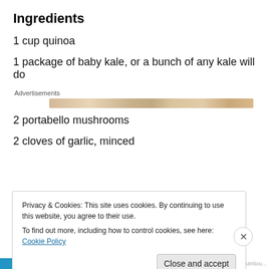Ingredients
1 cup quinoa
1 package of baby kale, or a bunch of any kale will do
[Figure (other): Advertisement banner with food imagery]
2 portabello mushrooms
2 cloves of garlic, minced
Privacy & Cookies: This site uses cookies. By continuing to use this website, you agree to their use.
To find out more, including how to control cookies, see here: Cookie Policy